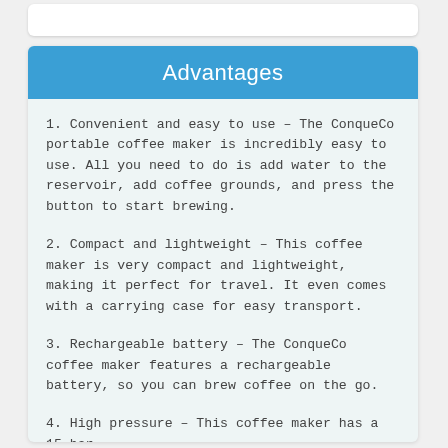Advantages
1. Convenient and easy to use – The ConqueCo portable coffee maker is incredibly easy to use. All you need to do is add water to the reservoir, add coffee grounds, and press the button to start brewing.
2. Compact and lightweight – This coffee maker is very compact and lightweight, making it perfect for travel. It even comes with a carrying case for easy transport.
3. Rechargeable battery – The ConqueCo coffee maker features a rechargeable battery, so you can brew coffee on the go.
4. High pressure – This coffee maker has a 15 bar...